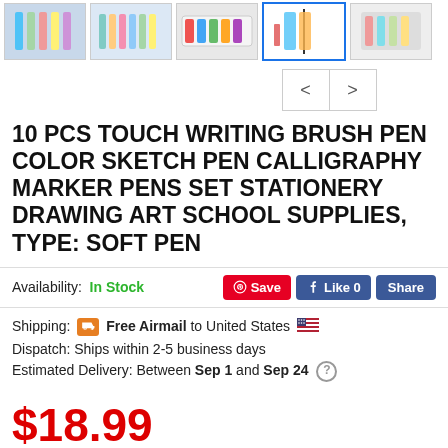[Figure (photo): Row of 5 product thumbnail images showing colored marker/brush pen sets]
[Figure (other): Navigation buttons: left arrow and right arrow]
10 PCS TOUCH WRITING BRUSH PEN COLOR SKETCH PEN CALLIGRAPHY MARKER PENS SET STATIONERY DRAWING ART SCHOOL SUPPLIES, TYPE: SOFT PEN
Availability: In Stock
Shipping: Free Airmail to United States
Dispatch: Ships within 2-5 business days
Estimated Delivery: Between Sep 1 and Sep 24
$18.99